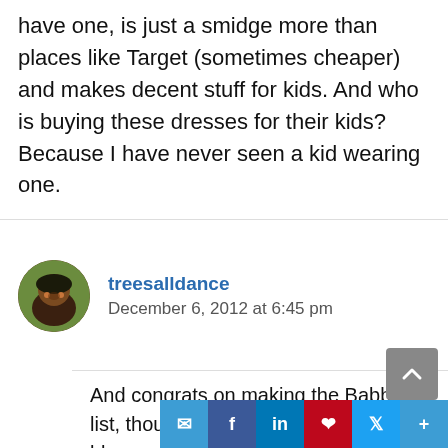have one, is just a smidge more than places like Target (sometimes cheaper) and makes decent stuff for kids. And who is buying these dresses for their kids? Because I have never seen a kid wearing one.
treesalldance
December 6, 2012 at 6:45 pm
And congrats on making the Babble list, though I agree that you're a blogger who is a mother and not a mommy blogger!